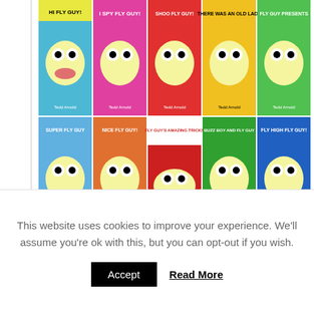[Figure (photo): Grid of Fly Guy children's book covers arranged in 2 rows of 5, colorful cartoon covers by Tedd Arnold]
Sandra Boynton — anything by her!
There are so many good ones. Here are a few of our favorites that were among the first books my kids read to me. I think the first book that my kids ever read to me was Blue Hat, Green Hat.
[Figure (photo): The Big Yellow Box: Boynton's Greatest Hits book set in a yellow box]
This website uses cookies to improve your experience. We'll assume you're ok with this, but you can opt-out if you wish.
Accept  Read More